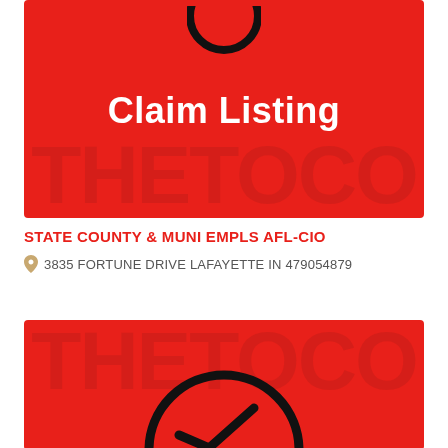[Figure (illustration): Red card with a circular checkmark icon at the top and bold white text reading 'Claim Listing'. Background has a faint watermark text.]
STATE COUNTY & MUNI EMPLS AFL-CIO
3835 FORTUNE DRIVE LAFAYETTE IN 479054879
[Figure (illustration): Second red card partially visible at the bottom, showing a partial circular checkmark icon on a red background with faint watermark text.]